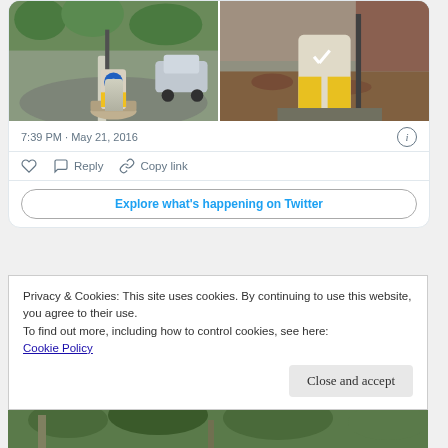[Figure (photo): Two side-by-side photos of road bollards with blue and yellow markings on a street junction]
7:39 PM · May 21, 2016
Reply  Copy link
Explore what's happening on Twitter
Privacy & Cookies: This site uses cookies. By continuing to use this website, you agree to their use.
To find out more, including how to control cookies, see here:
Cookie Policy
Close and accept
[Figure (photo): Partial view of trees and street scene at the bottom of the page]